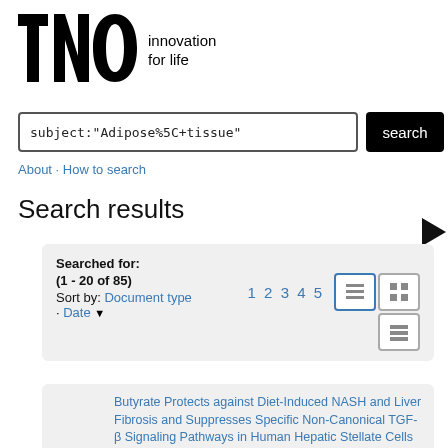[Figure (logo): TNO logo with tagline 'innovation for life']
subject:"Adipose%5C+tissue"
search
About · How to search
Search results
Searched for:
(1 - 20 of 85)
Sort by: Document type
· Date
1 2 3 4 5
Butyrate Protects against Diet-Induced NASH and Liver Fibrosis and Suppresses Specific Non-Canonical TGF-β Signaling Pathways in Human Hepatic Stellate Cells
Gart, E. (author), van Duyvenvoorde, W. (author),